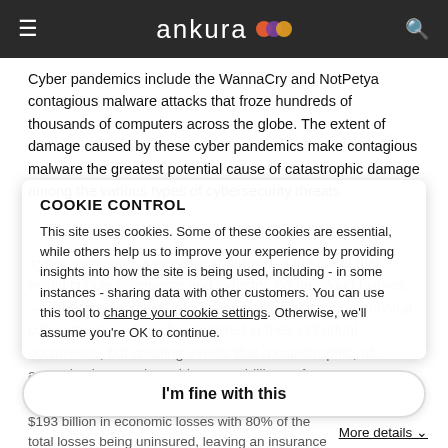ankura [logo]
Cyber pandemics include the WannaCry and NotPetya contagious malware attacks that froze hundreds of thousands of computers across the globe. The extent of damage caused by these cyber pandemics make contagious malware the greatest potential cause of catastrophic damage among the various types of cybersecurity threats.
COOKIE CONTROL
This site uses cookies. Some of these cookies are essential, while others help us to improve your experience by providing insights into how the site is being used, including - in some instances - sharing data with other customers. You can use this tool to change your cookie settings. Otherwise, we'll assume you're OK to continue.
I'm fine with this
$193 billion in economic losses with 80% of the total losses being uninsured, leaving an insurance gap of $166 billion, a Lloyd's of London report suggests.[1]
More details